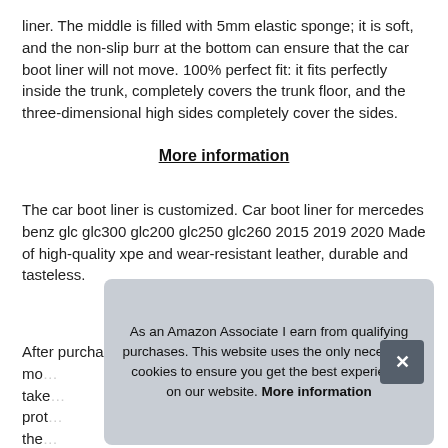liner. The middle is filled with 5mm elastic sponge; it is soft, and the non-slip burr at the bottom can ensure that the car boot liner will not move. 100% perfect fit: it fits perfectly inside the trunk, completely covers the trunk floor, and the three-dimensional high sides completely cover the sides.
More information
The car boot liner is customized. Car boot liner for mercedes benz glc glc300 glc200 glc250 glc260 2015 2019 2020 Made of high-quality xpe and wear-resistant leather, durable and tasteless.
After purchasing, please be sure to inform us of your car mod... take... prot... the... scratch properties, rain, waterproof, snow and dirt.
As an Amazon Associate I earn from qualifying purchases. This website uses the only necessary cookies to ensure you get the best experience on our website. More information